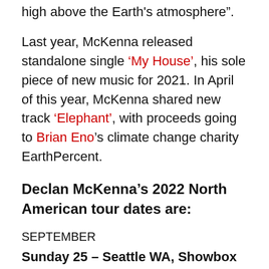high above the Earth's atmosphere".
Last year, McKenna released standalone single 'My House', his sole piece of new music for 2021. In April of this year, McKenna shared new track 'Elephant', with proceeds going to Brian Eno's climate change charity EarthPercent.
Declan McKenna's 2022 North American tour dates are:
SEPTEMBER
Sunday 25 – Seattle WA, Showbox SoDo
Tuesday 27 – San Francisco CA, Regency Ballroom
Thursday 29 – Los Angeles CA, Fonda Theatre